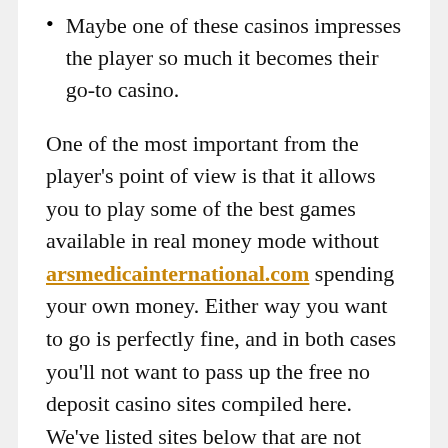Maybe one of these casinos impresses the player so much it becomes their go-to casino.
One of the most important from the player's point of view is that it allows you to play some of the best games available in real money mode without arsmedicainternational.com spending your own money. Either way you want to go is perfectly fine, and in both cases you'll not want to pass up the free no deposit casino sites compiled here. We've listed sites below that are not only giving you free gambling money, but that also have a good reputation in the online gaming community. The last thing you want is to follow the terms and